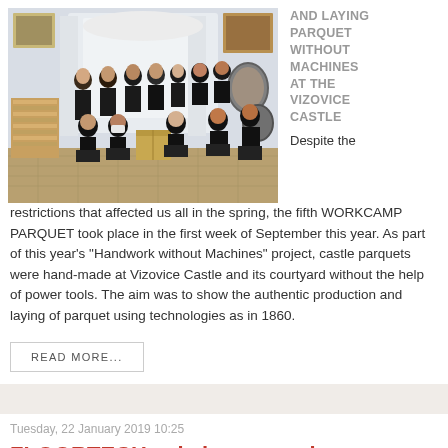[Figure (photo): Group photo of workers in black t-shirts inside an ornate castle room with white baroque walls, some kneeling and some standing, with parquet wood pieces visible]
AND LAYING PARQUET WITHOUT MACHINES AT THE VIZOVICE CASTLE
Despite the restrictions that affected us all in the spring, the fifth WORKCAMP PARQUET took place in the first week of September this year. As part of this year's "Handwork without Machines" project, castle parquets were hand-made at Vizovice Castle and its courtyard without the help of power tools. The aim was to show the authentic production and laying of parquet using technologies as in 1860.
READ MORE...
Tuesday, 22 January 2019 10:25
FLOORTECH asia increases by more